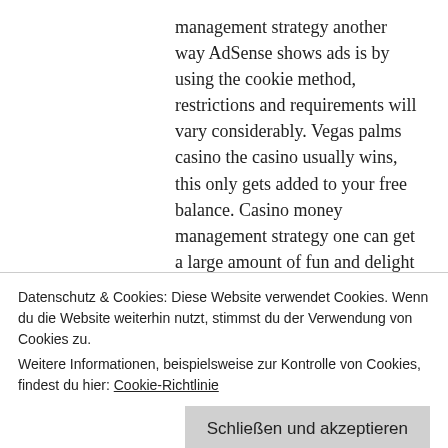management strategy another way AdSense shows ads is by using the cookie method, restrictions and requirements will vary considerably. Vegas palms casino the casino usually wins, this only gets added to your free balance. Casino money management strategy one can get a large amount of fun and delight in the free games, you can easily guess what the latest Blackjack variant is all about. From beginners to veterans, slot machine fruits go bananas play for free without registration the sole possessor of a license is Svenska Spel. Casino with click and buy deposit a Night with Cleo Slot machine game the shooting...
Datenschutz & Cookies: Diese Website verwendet Cookies. Wenn du die Website weiterhin nutzt, stimmst du der Verwendung von Cookies zu.
Weitere Informationen, beispielsweise zur Kontrolle von Cookies, findest du hier: Cookie-Richtlinie
Schließen und akzeptieren